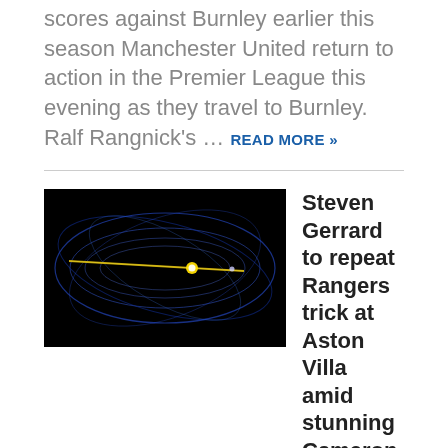scores against Burnley earlier this season Manchester United return to action in the Premier League this evening as they travel to Burnley. Ralf Rangnick's … READ MORE »
[Figure (photo): Dark background image with blue curved light trails and a bright yellow/gold dot, resembling a space or physics visualization]
Steven Gerrard to repeat Rangers trick at Aston Villa amid stunning Cameron Archer form
Former Premier League goalkeeper Paul Robinson has backed Aston Villa loanee Cameron Archer to force his way into Steven Gerrard's first-team plans next season. Archer is currently playing his football … READ MORE »
Newcastle United vs